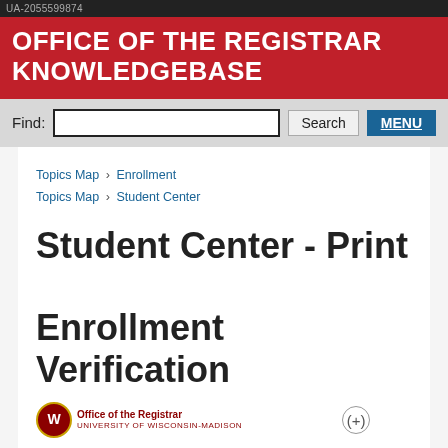UA-2055599874
OFFICE OF THE REGISTRAR KNOWLEDGEBASE
Find:  Search  MENU
Topics Map > Enrollment
Topics Map > Student Center
Student Center - Print Enrollment Verification
[Figure (logo): Office of the Registrar, University of Wisconsin-Madison logo with shield emblem]
An overview and step-by-step guide to downloading an official Enrollment Verification letter